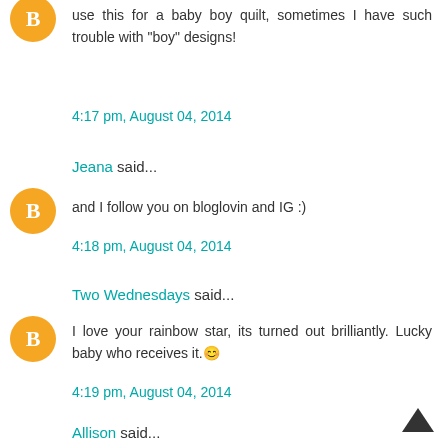use this for a baby boy quilt, sometimes I have such trouble with "boy" designs!
4:17 pm, August 04, 2014
Jeana said...
and I follow you on bloglovin and IG :)
4:18 pm, August 04, 2014
Two Wednesdays said...
I love your rainbow star, its turned out brilliantly. Lucky baby who receives it. 😊
4:19 pm, August 04, 2014
Allison said...